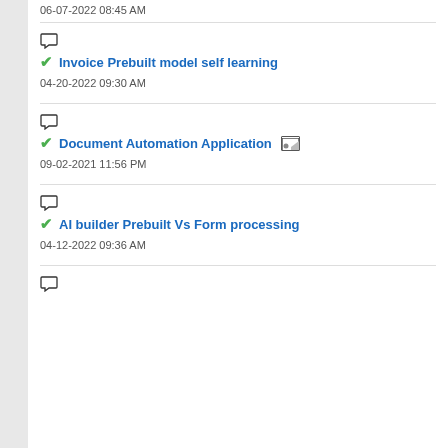06-07-2022 08:45 AM
Invoice Prebuilt model self learning — 04-20-2022 09:30 AM
Document Automation Application — 09-02-2021 11:56 PM
AI builder Prebuilt Vs Form processing — 04-12-2022 09:36 AM